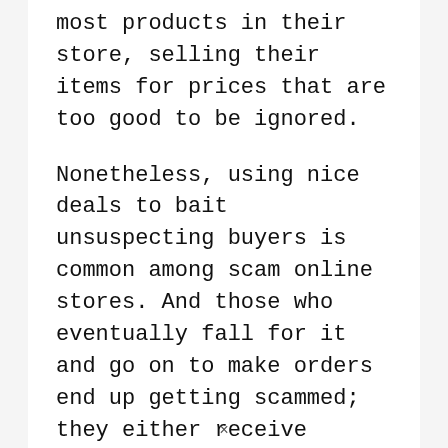They've generously slashed the prices of most products in their store, selling their items for prices that are too good to be ignored.
Nonetheless, using nice deals to bait unsuspecting buyers is common among scam online stores. And those who eventually fall for it and go on to make orders end up getting scammed; they either receive products of inferior quality or nothing at all.
Also, yhba.shop uses a convincing website layout, giving it a trustworthy outlook. But this should not deceive you into believing
×